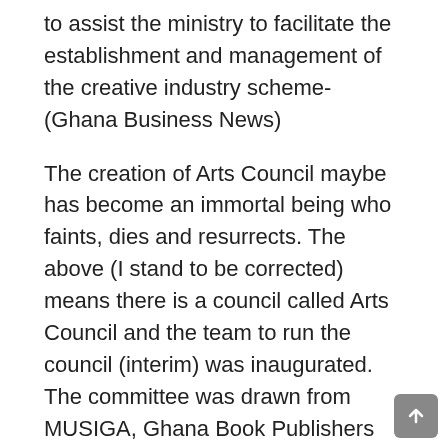to assist the ministry to facilitate the establishment and management of the creative industry scheme-(Ghana Business News)
The creation of Arts Council maybe has become an immortal being who faints, dies and resurrects. The above (I stand to be corrected) means there is a council called Arts Council and the team to run the council (interim) was inaugurated. The committee was drawn from MUSIGA, Ghana Book Publishers Association, Association of Visual Artist, Actresses Association of Ghana , Copy Ghana and Ghana Fashion Designers Association. We call this an achievement because we have again inaugurated another creative Arts council.